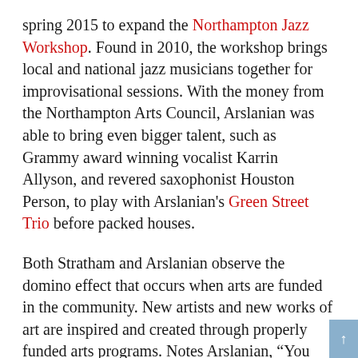spring 2015 to expand the Northampton Jazz Workshop. Found in 2010, the workshop brings local and national jazz musicians together for improvisational sessions. With the money from the Northampton Arts Council, Arslanian was able to bring even bigger talent, such as Grammy award winning vocalist Karrin Allyson, and revered saxophonist Houston Person, to play with Arslanian's Green Street Trio before packed houses.
Both Stratham and Arslanian observe the domino effect that occurs when arts are funded in the community. New artists and new works of art are inspired and created through properly funded arts programs. Notes Arslanian, “You don’t learn this music unless you’re doing it all the time, leaving room for trial, error, success and growth.” With this in mind, The Northampton Jazz Workshop is starting a new program that brings community schools and